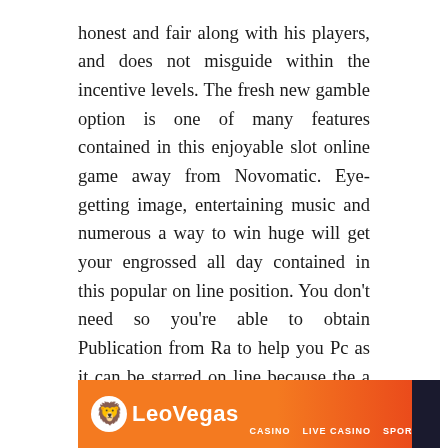honest and fair along with his players, and does not misguide within the incentive levels. The fresh new gamble option is one of many features contained in this enjoyable slot online game away from Novomatic. Eye-getting image, entertaining music and numerous a way to win huge will get your engrossed all day contained in this popular on line position. You don't need so you're able to obtain Publication from Ra to help you Pc as it can be starred on line because the a thumb games otherwise coffees if you would like. Apart from that, like with extremely casinos on the internet, you have made put bonuses and therefore then increases your own lender goes to gamble Publication of Ra Online a lot more. The greatest benefit of slot online game may be the facts you don't need to be considered good expert commercially, to experience success put.
[Figure (screenshot): LeoVegas casino website banner with orange gradient background, LeoVegas logo on left (lion icon + LeoVegas text), and navigation links CASINO, LIVE CASINO, SPORTS on the right]